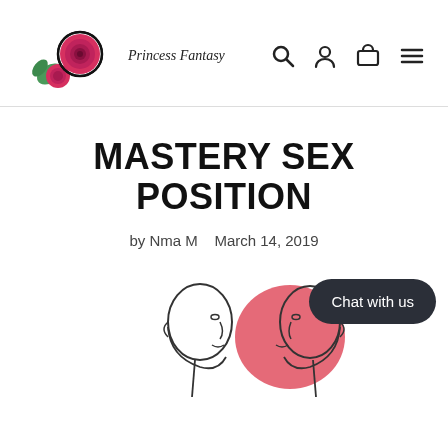[Figure (logo): Princess Fantasy logo with rose illustration and text]
MASTERY SEX POSITION
by Nma M   March 14, 2019
[Figure (illustration): Line illustration of two faces in profile, one with red hair highlight, partially visible at bottom of page]
Chat with us